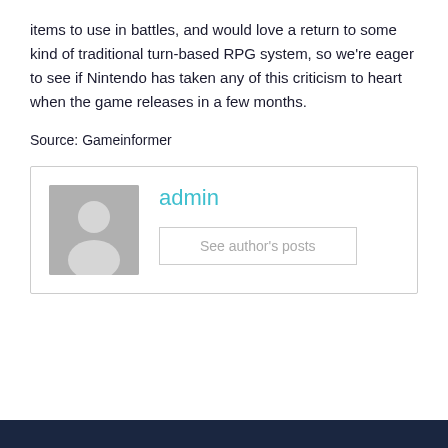items to use in battles, and would love a return to some kind of traditional turn-based RPG system, so we're eager to see if Nintendo has taken any of this criticism to heart when the game releases in a few months.
Source: Gameinformer
[Figure (illustration): Author box with avatar placeholder image and admin name with 'See author's posts' button]